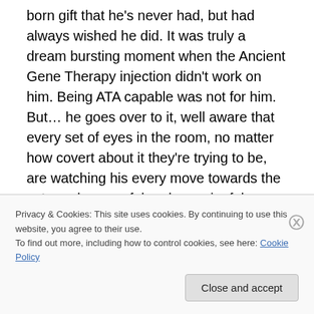born gift that he's never had, but had always wished he did. It was truly a dream bursting moment when the Ancient Gene Therapy injection didn't work on him. Being ATA capable was not for him. But… he goes over to it, well aware that every set of eyes in the room, no matter how covert about it they're trying to be, are watching his every move towards the extremely powerful and meaningful Ancient device. Richard looks down upon it for a moment, weighing the decision to brush his fingers over its armrest again. But now he has that dreamt of opportunity again. How many people are allowed to have the same dream
Privacy & Cookies: This site uses cookies. By continuing to use this website, you agree to their use.
To find out more, including how to control cookies, see here: Cookie Policy